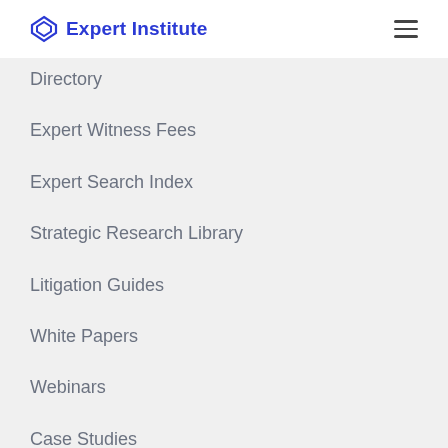Expert Institute
Directory
Expert Witness Fees
Expert Search Index
Strategic Research Library
Litigation Guides
White Papers
Webinars
Case Studies
Insights